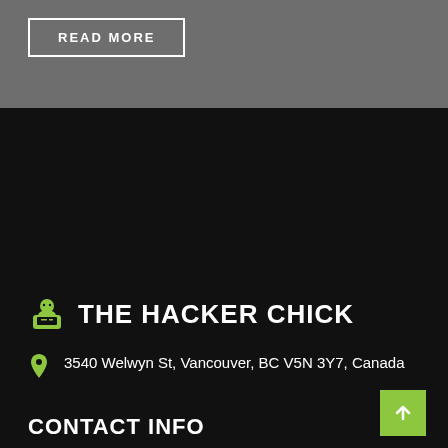READ MORE
THE HACKER CHICK
3540 Welwyn St, Vancouver, BC V5N 3Y7, Canada
CONTACT INFO
1-604-930-9269
info@thehackerchickblog.com
Follow me on Twitter